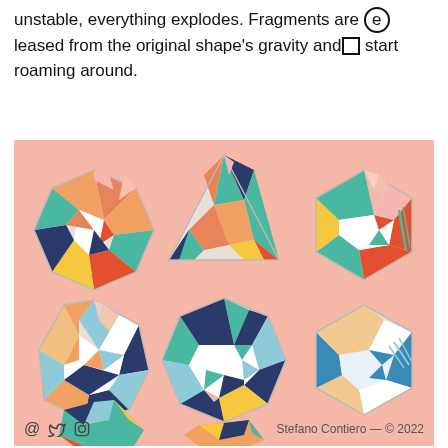unstable, everything explodes. Fragments are released from the original shape's gravity and start roaming around.
[Figure (illustration): Six colorful geometric fragmented polygon/crystal shapes arranged in two rows on a salmon/peach background. Shapes are filled with orange, teal, navy, yellow, red, white, and pink angular fragments. A third partial row is visible at the bottom.]
@ [twitter] [instagram]   Stefano Contiero — © 2022